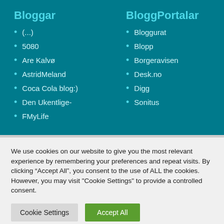Bloggar
(...)
5080
Are Kalvø
AstridMeland
Coca Cola blog:)
Den Ukentlige-
FMyLife
BloggPortalar
Bloggurat
Blopp
Borgeravisen
Desk.no
Digg
Sonitus
We use cookies on our website to give you the most relevant experience by remembering your preferences and repeat visits. By clicking “Accept All”, you consent to the use of ALL the cookies. However, you may visit "Cookie Settings" to provide a controlled consent.
Cookie Settings
Accept All